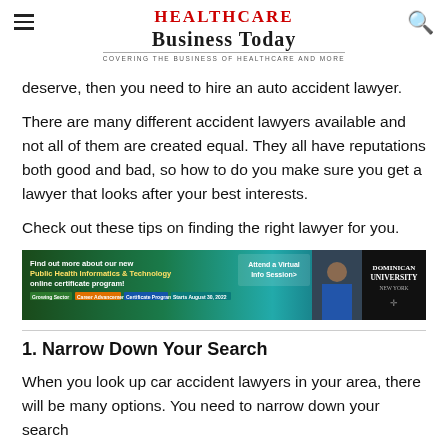Healthcare Business Today — Covering the business of healthcare and more
deserve, then you need to hire an auto accident lawyer.
There are many different accident lawyers available and not all of them are created equal. They all have reputations both good and bad, so how to do you make sure you get a lawyer that looks after your best interests.
Check out these tips on finding the right lawyer for you.
[Figure (infographic): Advertisement banner for Dominican University New York promoting a new Public Health Informatics & Technology online certificate program. Features tags: Growing Sector, Career Advancement, Certificate Program, Starts August 30, 2022. Includes a call to action: Attend a Virtual Info Session>]
1. Narrow Down Your Search
When you look up car accident lawyers in your area, there will be many options. You need to narrow down your search